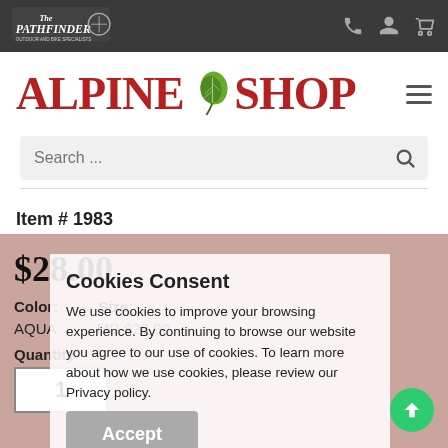The Pathfinder | Alpine Shop
[Figure (logo): Alpine Shop logo with leaf icon, red serif text]
Search ...
Item # 1983
$28.00
Color: AQUA   Size: MD $28.00
Quantity
1
Cookies Consent
We use cookies to improve your browsing experience. By continuing to browse our website you agree to our use of cookies. To learn more about how we use cookies, please review our Privacy policy.
Accept